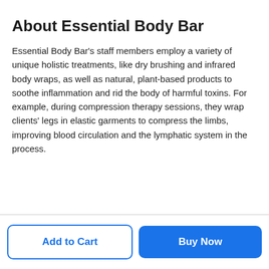About Essential Body Bar
Essential Body Bar's staff members employ a variety of unique holistic treatments, like dry brushing and infrared body wraps, as well as natural, plant-based products to soothe inflammation and rid the body of harmful toxins. For example, during compression therapy sessions, they wrap clients' legs in elastic garments to compress the limbs, improving blood circulation and the lymphatic system in the process.
Add to Cart
Buy Now